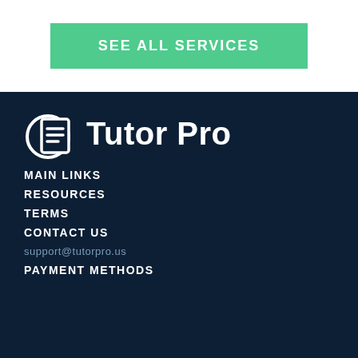SEE ALL SERVICES
[Figure (logo): Tutor Pro logo: document icon with horizontal lines inside a circle, next to bold white text 'Tutor Pro' on dark navy background]
MAIN LINKS
RESOURCES
TERMS
CONTACT US
support@tutorpro.us
PAYMENT METHODS